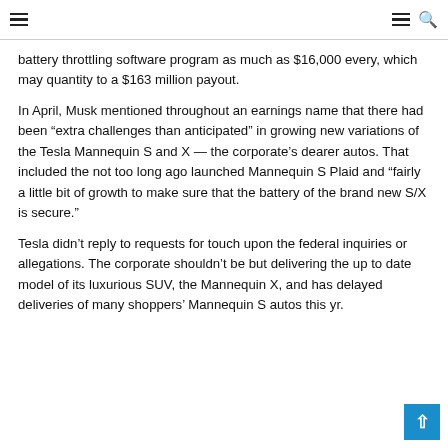Navigation header with hamburger menus and search icon
battery throttling software program as much as $16,000 every, which may quantity to a $163 million payout.
In April, Musk mentioned throughout an earnings name that there had been “extra challenges than anticipated” in growing new variations of the Tesla Mannequin S and X — the corporate’s dearer autos. That included the not too long ago launched Mannequin S Plaid and “fairly a little bit of growth to make sure that the battery of the brand new S/X is secure.”
Tesla didn’t reply to requests for touch upon the federal inquiries or allegations. The corporate shouldn’t be but delivering the up to date model of its luxurious SUV, the Mannequin X, and has delayed deliveries of many shoppers’ Mannequin S autos this yr.